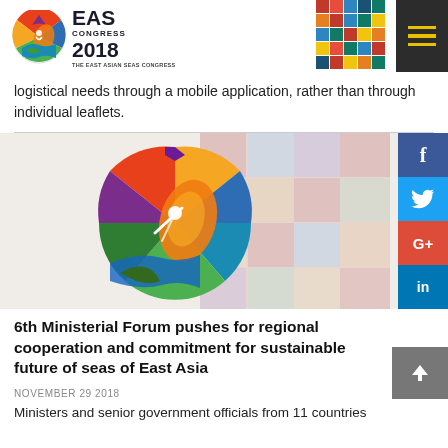EAS CONGRESS 2018 — THE EAST ASIAN SEAS CONGRESS
logistical needs through a mobile application, rather than through individual leaflets.
[Figure (logo): EAS Congress 2018 colorful logo with geometric mosaic pattern]
6th Ministerial Forum pushes for regional cooperation and commitment for sustainable future of seas of East Asia
NOVEMBER 29 2018
Ministers and senior government officials from 11 countries